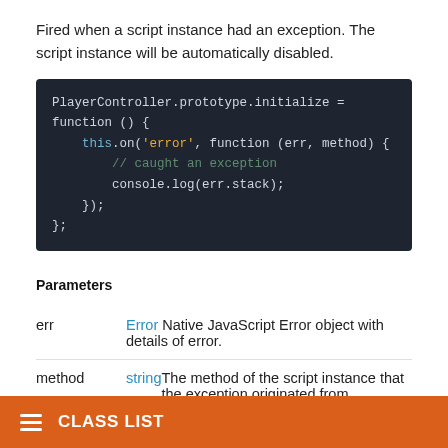Fired when a script instance had an exception. The script instance will be automatically disabled.
PlayerController.prototype.initialize = function () {
    this.on('error', function (err, method) {
        // caught an exception
        console.log(err.stack);
    });
};
Parameters
err  Error  Native JavaScript Error object with details of error.
method  string  The method of the script instance that the exception originated from.
state
Fired when a script instance changes state to enabled or disabled.
CLASS LIST